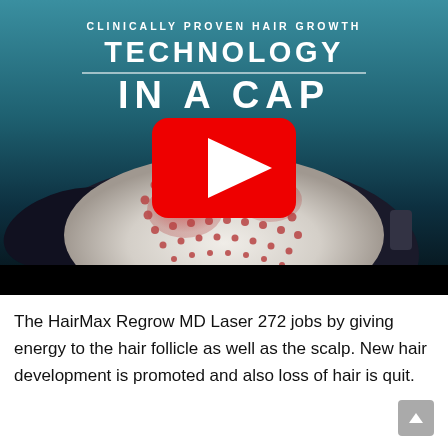[Figure (screenshot): Video thumbnail showing a HairMax Regrow MD Laser cap device with red laser diodes visible inside the dome of the cap, set against a teal-to-dark gradient background. A YouTube play button (red rounded rectangle with white triangle) overlays the center. Header text reads: 'CLINICALLY PROVEN HAIR GROWTH TECHNOLOGY IN A CAP'. A black bar runs along the bottom of the thumbnail.]
The HairMax Regrow MD Laser 272 jobs by giving energy to the hair follicle as well as the scalp. New hair development is promoted and also loss of hair is quit.